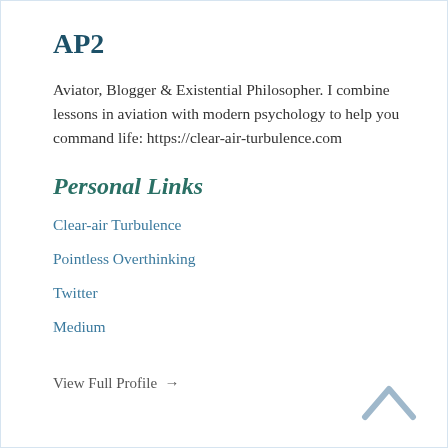AP2
Aviator, Blogger & Existential Philosopher. I combine lessons in aviation with modern psychology to help you command life: https://clear-air-turbulence.com
Personal Links
Clear-air Turbulence
Pointless Overthinking
Twitter
Medium
View Full Profile →